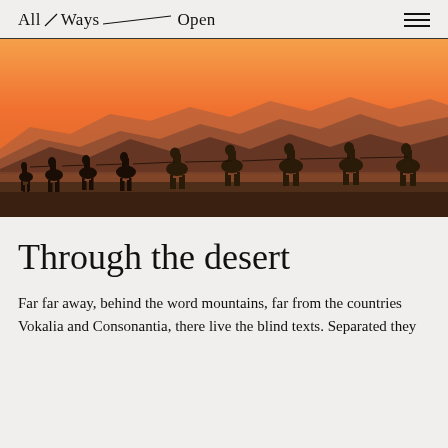All Ways Open
[Figure (photo): A caravan of camels silhouetted against a vivid orange desert sunset with layered mountain ridges in the background]
Through the desert
Far far away, behind the word mountains, far from the countries Vokalia and Consonantia, there live the blind texts. Separated they